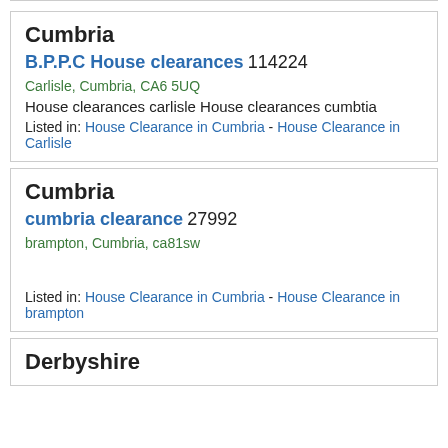Cumbria
B.P.P.C House clearances 114224
Carlisle, Cumbria, CA6 5UQ
House clearances carlisle House clearances cumbtia
Listed in: House Clearance in Cumbria - House Clearance in Carlisle
Cumbria
cumbria clearance 27992
brampton, Cumbria, ca81sw
Listed in: House Clearance in Cumbria - House Clearance in brampton
Derbyshire